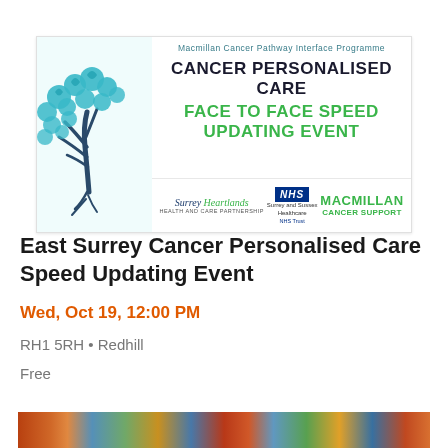[Figure (illustration): Banner image for Cancer Personalised Care Face to Face Speed Updating Event. Features a teal tree illustration on the left, event title text in the center-right area, and logos for Surrey Heartlands Health and Care Partnership, NHS Surrey and Sussex Healthcare NHS Trust, and Macmillan Cancer Support at the bottom.]
East Surrey Cancer Personalised Care Speed Updating Event
Wed, Oct 19, 12:00 PM
RH1 5RH • Redhill
Free
[Figure (photo): Partial bottom strip showing colourful images, cropped at page bottom.]